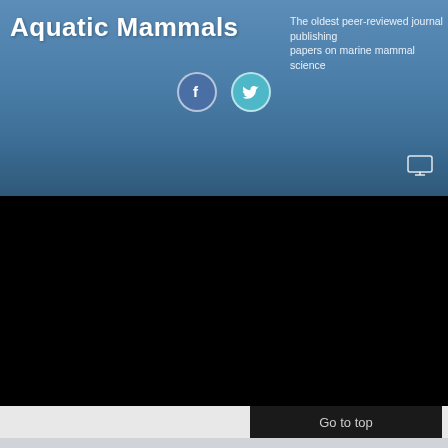Aquatic Mammals
The oldest peer-reviewed journal publishing papers on marine mammal science
[Figure (illustration): Facebook and Twitter social media icon circles in the header band]
[Figure (illustration): Monitor/screen icon in the navigation band (top right)]
[Figure (photo): Large black content area - video or image placeholder]
Go to top